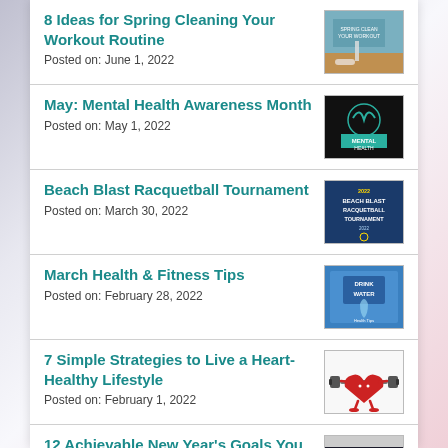8 Ideas for Spring Cleaning Your Workout Routine
Posted on: June 1, 2022
May: Mental Health Awareness Month
Posted on: May 1, 2022
Beach Blast Racquetball Tournament
Posted on: March 30, 2022
March Health & Fitness Tips
Posted on: February 28, 2022
7 Simple Strategies to Live a Heart-Healthy Lifestyle
Posted on: February 1, 2022
12 Achievable New Year's Goals You